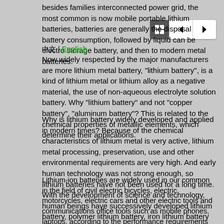besides families interconnected power grid, the most common is now mobile portable lithium batteries, batteries are generally the disposal battery consumption, followed by liquid can be electro storage battery, and then to modern metal batteries.
Now widely respected by the major manufacturers are more lithium metal battery, "lithium battery", is a kind of lithium metal or lithium alloy as a negative material, the use of non-aqueous electrolyte solution battery. Why "lithium battery" and not "copper battery", "aluminum battery"? This is related to the chemical properties of metallic elements, which determine their applications.
Why is lithium battery widely developed and applied in modern times? Because of the chemical characteristics of lithium metal is very active, lithium metal processing, preservation, use and other environmental requirements are very high. And early human technology was not strong enough, so lithium batteries have not been used for a long time. With the development of science and technology, human beings have successively developed lithium battery, polymer lithium battery, iron lithium battery and so on. Now lithium battery has become the mainstream of electronic products.
Lithium-ion batteries are widely used in our common in the field of civil electric bicycles, electric motorcycles, electric cars and other electric tools and communications office tools such as mobile phones, laptops, according to the performance requirements of application products to choose the size, the lithium battery if it is a watch this kind of light, little power consumption products one button lithium battery can meet the demand, if the product is a large power consumption big have to choose a lithium-ion battery pack, more common 26650 18650 lithium batteries, lithium batteries, etc.